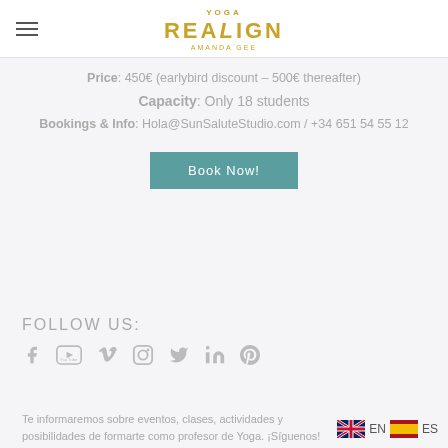[Figure (logo): Yoga Realign Amanda Gee logo with hamburger menu icon on left]
Price: 450€ (earlybird discount – 500€ thereafter)
Capacity: Only 18 students
Bookings & Info: Hola@SunSaluteStudio.com / +34 651 54 55 12
[Figure (other): Book Now! button in teal/green color]
FOLLOW US:
[Figure (other): Social media icons: Facebook, YouTube, Vimeo, Instagram, Twitter, LinkedIn, Pinterest]
Te informaremos sobre eventos, clases, actividades y posibilidades de formarte como profesor de Yoga. ¡Síguenos!